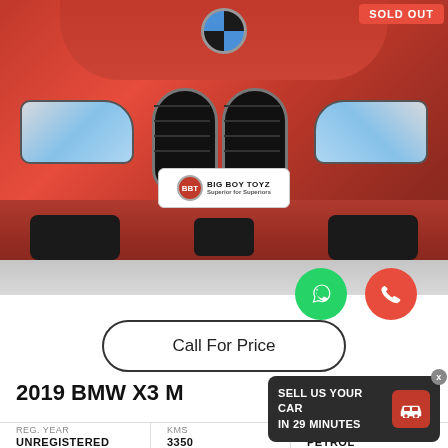[Figure (photo): Front view of a red 2019 BMW X3 M with Big Boy Toyz dealer badge, photographed in a showroom. A 'SOLD OUT' banner appears in the top right corner.]
SOLD OUT
[Figure (infographic): WhatsApp (green) and phone call (red) contact buttons]
Call For Price
2019 BMW X3 M
SELL US YOUR CAR IN 29 MINUTES
REG. YEAR
UNREGISTERED
KMS
3350
FUEL TYPE
PETROL